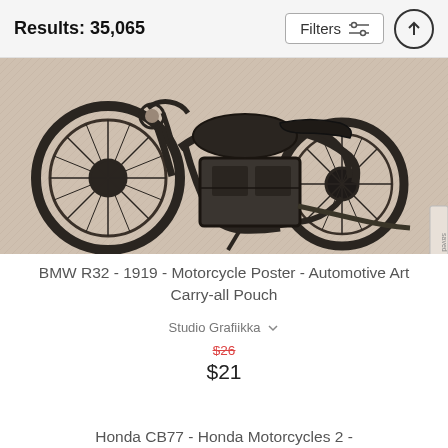Results: 35,065
Filters
[Figure (illustration): Vintage charcoal/sketch style illustration of a BMW R32 motorcycle on a light beige textured background, viewed from the side]
BMW R32 - 1919 - Motorcycle Poster - Automotive Art Carry-all Pouch
Studio Grafiikka
$26
$21
Honda CB77 - Honda Motorcycles 2 -